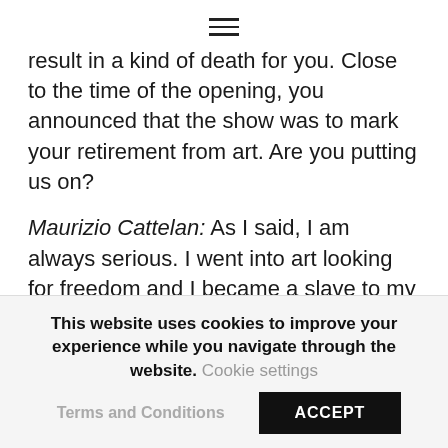≡
result in a kind of death for you. Close to the time of the opening, you announced that the show was to mark your retirement from art. Are you putting us on?
Maurizio Cattelan: As I said, I am always serious. I went into art looking for freedom and I became a slave to my work. It gets tedious after a while, being chained down, even if the parties are good. More than anything, I just want to escape.
This website uses cookies to improve your experience while you navigate through the website. Cookie settings
Terms and Conditions
ACCEPT